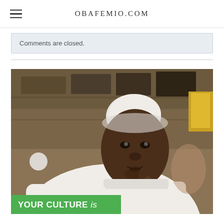OBAFEMIO.COM
Comments are closed.
[Figure (photo): A man wearing a white traditional agbada outfit and white cap, resting his chin on his hand, photographed indoors with blurred background. A green banner overlay at the bottom reads: YOUR CULTURE is]
YOUR CULTURE is